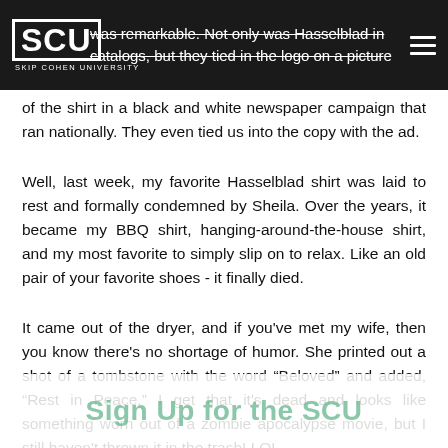SCU Skip Cohen University
was remarkable. Not only was Hasselblad in catalogs, but they tied in the logo on a picture of the shirt in a black and white newspaper campaign that ran nationally. They even tied us into the copy with the ad.
Well, last week, my favorite Hasselblad shirt was laid to rest and formally condemned by Sheila. Over the years, it became my BBQ shirt, hanging-around-the-house shirt, and my most favorite to simply slip on to relax. Like an old pair of your favorite shoes - it finally died.
It came out of the dryer, and if you've met my wife, then you know there's no shortage of humor. She printed out a shot of a tombstone with the word "Beloved" and added, "Rest in Peace." I get that it's dead and looks like something worn out of a zombie apocalypse movie, but I still haven't thrown it in the trash! LOL
Sign Up for the SCU